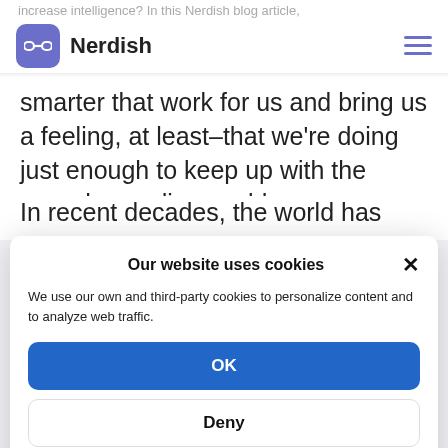increase intelligence? In this Nerdish blog article,
[Figure (logo): Nerdish logo: purple rounded square icon with white glasses, next to text 'Nerdish', with hamburger menu icon on the right]
smarter that work for us and bring us a feeling, at least–that we're doing just enough to keep up with the ever-demanding world.
In recent decades, the world has been obsessed with...
Our website uses cookies
We use our own and third-party cookies to personalize content and to analyze web traffic.
OK
Deny
Cookie Policy   Privacy Statement